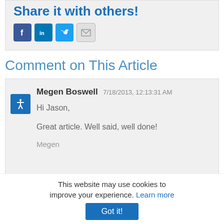Share it with others!
[Figure (infographic): Social sharing icons: Facebook, LinkedIn, Twitter, Email]
Comment on This Article
Megen Boswell 7/18/2013, 12:13:31 AM
Hi Jason,

Great article. Well said, well done!

Megen
This website may use cookies to improve your experience. Learn more
Got it!